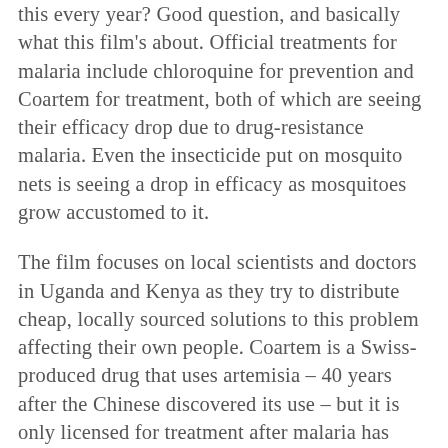this every year? Good question, and basically what this film's about. Official treatments for malaria include chloroquine for prevention and Coartem for treatment, both of which are seeing their efficacy drop due to drug-resistance malaria. Even the insecticide put on mosquito nets is seeing a drop in efficacy as mosquitoes grow accustomed to it.
The film focuses on local scientists and doctors in Uganda and Kenya as they try to distribute cheap, locally sourced solutions to this problem affecting their own people. Coartem is a Swiss-produced drug that uses artemisia – 40 years after the Chinese discovered its use – but it is only licensed for treatment after malaria has occurred. Local scientists want to use artemisia tea to prevent malaria in the first place.